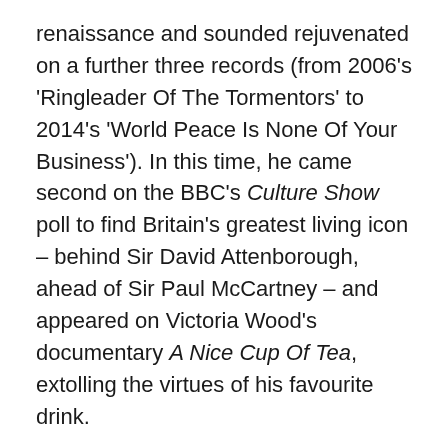renaissance and sounded rejuvenated on a further three records (from 2006's 'Ringleader Of The Tormentors' to 2014's 'World Peace Is None Of Your Business'). In this time, he came second on the BBC's Culture Show poll to find Britain's greatest living icon – behind Sir David Attenborough, ahead of Sir Paul McCartney – and appeared on Victoria Wood's documentary A Nice Cup Of Tea, extolling the virtues of his favourite drink.
The point is that Morrissey was being readied for national treasure status. Grumpy old Morrissey. A sort-of misanthropic Alan Bennett. By 2019 he could have been getting wheeled out for book readings at The Barbican Centre and performing at the